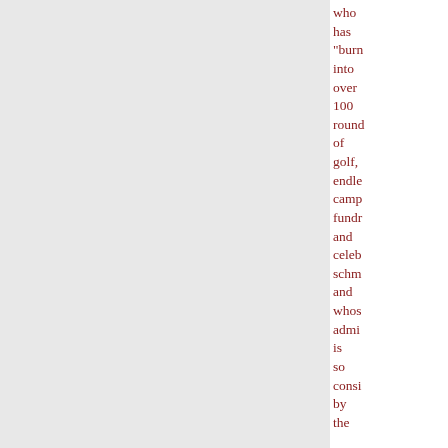who has "burn into over 100 rounds of golf, endless camp fundr and celeb schm and whose admi is so consi by the